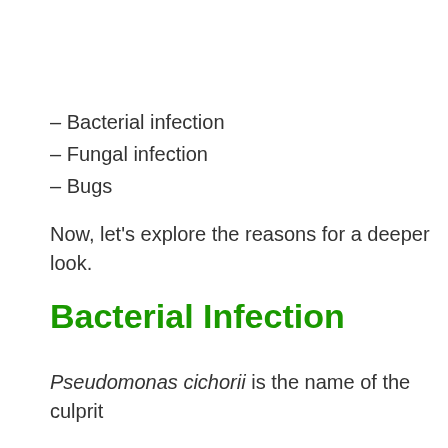– Bacterial infection
– Fungal infection
– Bugs
Now, let's explore the reasons for a deeper look.
Bacterial Infection
Pseudomonas cichorii is the name of the culprit